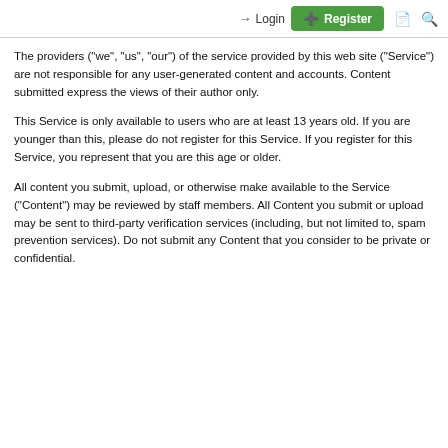Login | Register
The providers ("we", "us", "our") of the service provided by this web site ("Service") are not responsible for any user-generated content and accounts. Content submitted express the views of their author only.
This Service is only available to users who are at least 13 years old. If you are younger than this, please do not register for this Service. If you register for this Service, you represent that you are this age or older.
All content you submit, upload, or otherwise make available to the Service ("Content") may be reviewed by staff members. All Content you submit or upload may be sent to third-party verification services (including, but not limited to, spam prevention services). Do not submit any Content that you consider to be private or confidential.